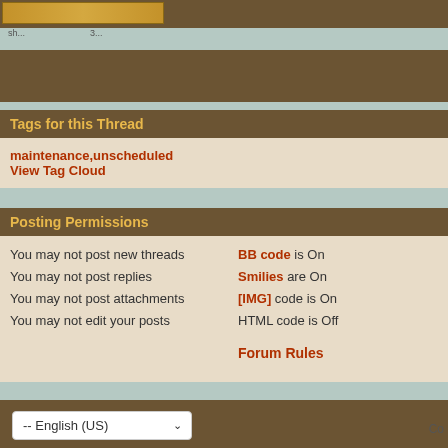Tags for this Thread
maintenance,unscheduled
View Tag Cloud
Posting Permissions
You may not post new threads
You may not post replies
You may not post attachments
You may not edit your posts
BB code is On
Smilies are On
[IMG] code is On
HTML code is Off
Forum Rules
-- English (US)  Co...